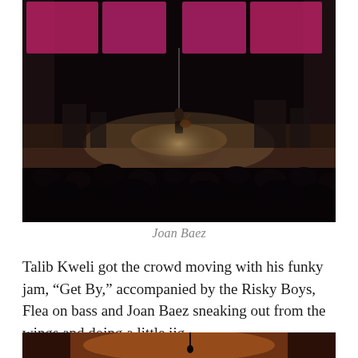[Figure (photo): Concert photo of a musician (Joan Baez) performing on stage with a guitar, spotlight on the stage, audience silhouettes in the foreground, pink/magenta lit panels in the background of a large concert hall.]
Joan Baez
Talib Kweli got the crowd moving with his funky jam, “Get By,” accompanied by the Risky Boys, Flea on bass and Joan Baez sneaking out from the wings and doing a little jig.
[Figure (photo): Partial view of another concert photo showing warm orange/amber stage lighting with what appears to be a performer or acrobat.]